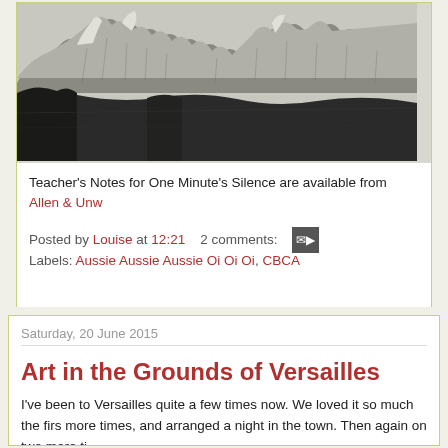[Figure (illustration): A detailed pencil/engraving style topographical map illustration showing mountainous coastal terrain with peaks, valleys and a dark water body in the foreground]
Teacher's Notes for One Minute's Silence are available from Allen & Unw
Posted by Louise at 12:21   2 comments:
Labels: Aussie Aussie Aussie Oi Oi Oi, CBCA
Saturday, 20 June 2015
Art in the Grounds of Versailles
I've been to Versailles quite a few times now. We loved it so much the firs more times, and arranged a night in the town. Then again on two more ti